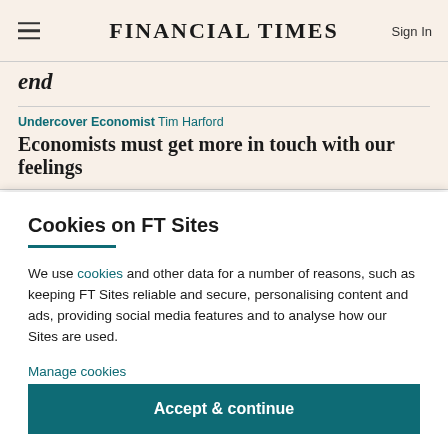FINANCIAL TIMES
end
Undercover Economist Tim Harford
Economists must get more in touch with our feelings
Cookies on FT Sites
We use cookies and other data for a number of reasons, such as keeping FT Sites reliable and secure, personalising content and ads, providing social media features and to analyse how our Sites are used.
Manage cookies
Accept & continue